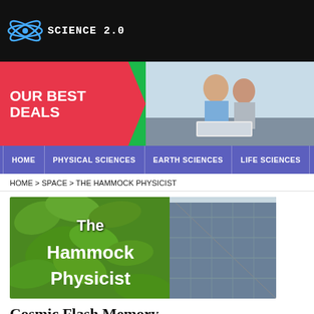SCIENCE 2.0
[Figure (photo): Advertisement banner with red arrow shape reading 'OUR BEST DEALS', couple with laptop, green background with Kaspersky Total Security text: Anti-malware, protection - in]
HOME | PHYSICAL SCIENCES | EARTH SCIENCES | LIFE SCIENCES | MEDICINE
HOME > SPACE > THE HAMMOCK PHYSICIST
[Figure (photo): Banner image showing green foliage and solar panels with text overlay: The Hammock Physicist]
Cosmic Flash Memory
By Johannes Koelman | September 27th 2009 03:27 PM | Print | E-mail
Share / Save  Tweet  Like